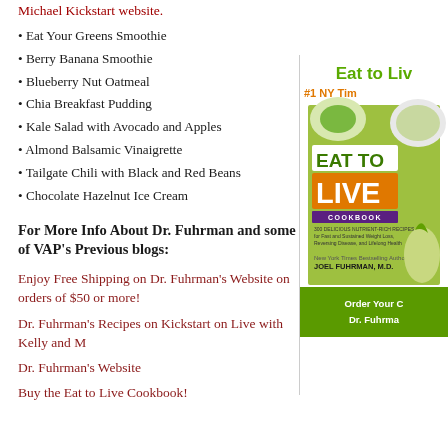Michael Kickstart website.
Eat Your Greens Smoothie
Berry Banana Smoothie
Blueberry Nut Oatmeal
Chia Breakfast Pudding
Kale Salad with Avocado and Apples
Almond Balsamic Vinaigrette
Tailgate Chili with Black and Red Beans
Chocolate Hazelnut Ice Cream
For More Info About Dr. Fuhrman and some of VAP’s Previous blogs:
Enjoy Free Shipping on Dr. Fuhrman’s Website on orders of $50 or more!
Dr. Fuhrman’s Recipes on Kickstart on Live with Kelly and M
Dr. Fuhrman’s Website
Buy the Eat to Live Cookbook!
[Figure (illustration): Eat to Live Cookbook book cover displayed in a panel on the right side of the page, with green and orange design, text 'Eat to Live' and '#1 NY Tim...' and 'Order Your C... Dr. Fuhrma...' at the bottom.]